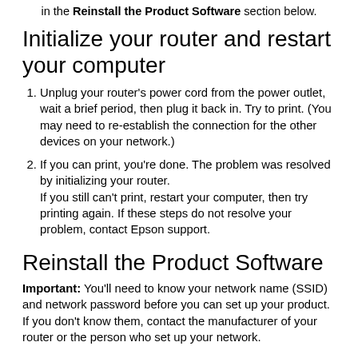in the Reinstall the Product Software section below.
Initialize your router and restart your computer
Unplug your router's power cord from the power outlet, wait a brief period, then plug it back in. Try to print. (You may need to re-establish the connection for the other devices on your network.)
If you can print, you're done. The problem was resolved by initializing your router. If you still can't print, restart your computer, then try printing again. If these steps do not resolve your problem, contact Epson support.
Reinstall the Product Software
Important: You'll need to know your network name (SSID) and network password before you can set up your product. If you don't know them, contact the manufacturer of your router or the person who set up your network.